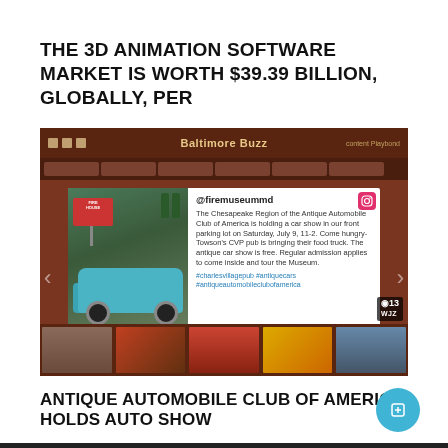THE 3D ANIMATION SOFTWARE MARKET IS WORTH $39.39 BILLION, GLOBALLY, PER
[Figure (screenshot): Screenshot of a social media/news aggregator page called Baltimore Buzz on a dark brown background, showing an Instagram post from @firemuseummd about an antique automobile club car show at a museum, with a photo of a teal vintage car with its hood open in a parking lot.]
ANTIQUE AUTOMOBILE CLUB OF AMERICA HOLDS AUTO SHOW